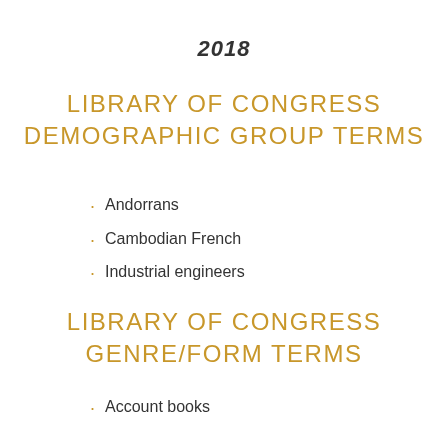2018
LIBRARY OF CONGRESS DEMOGRAPHIC GROUP TERMS
Andorrans
Cambodian French
Industrial engineers
LIBRARY OF CONGRESS GENRE/FORM TERMS
Account books